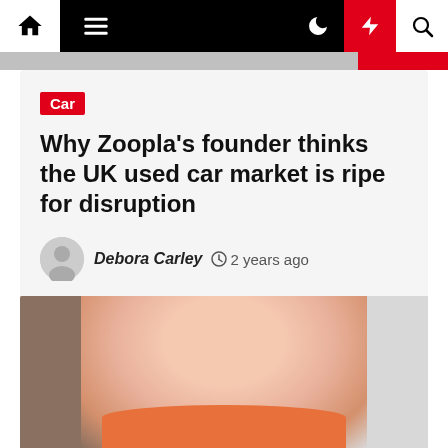Navigation bar with home, menu, dark mode, lightning/trending, and search icons
Car
Why Zoopla's founder thinks the UK used car market is ripe for disruption
Debora Carley  2 years ago
[Figure (photo): Close-up photo of a young woman's face, wearing an orange top, in front of a light background]